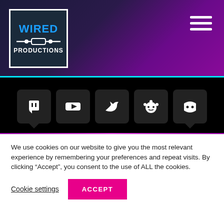[Figure (logo): Wired Productions logo — white bordered box on dark blue background with 'WIRED' in blue bold text, horizontal line graphic, and 'PRODUCTIONS' in white bold text]
[Figure (infographic): Social media icons bar on black background: Twitch, YouTube, Twitter, Reddit, Discord icons in dark rounded square badges]
We also have a number of reductions across our games on Steam including Vostok Inc, Deliver Us the Moon, Close to the Sun, and so much more! Full details on all the discounts available are below:
GRIP: Combat Racing 82% off
We use cookies on our website to give you the most relevant experience by remembering your preferences and repeat visits. By clicking “Accept”, you consent to the use of ALL the cookies.
Cookie settings   ACCEPT